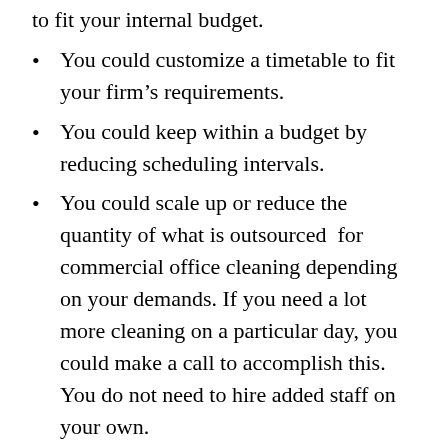to fit your internal budget.
You could customize a timetable to fit your firm’s requirements.
You could keep within a budget by reducing scheduling intervals.
You could scale up or reduce the quantity of what is outsourced  for commercial office cleaning depending on your demands. If you need a lot more cleaning on a particular day, you could make a call to accomplish this. You do not need to hire added staff on your own.
Contracting out can save expenses on upkeep, labor costs, equipment, repairs, uniforms, cleaning supplies as well as other related expenditures. If office cleaning is not